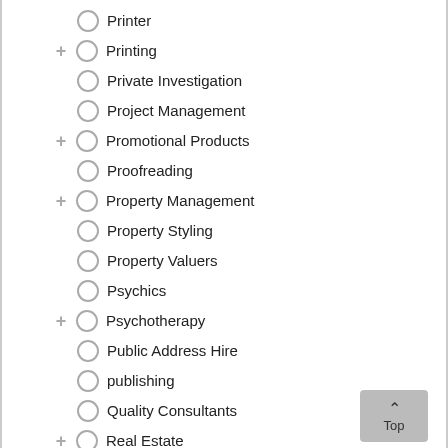Printer
+ Printing
Private Investigation
Project Management
+ Promotional Products
Proofreading
+ Property Management
Property Styling
Property Valuers
Psychics
+ Psychotherapy
Public Address Hire
publishing
Quality Consultants
+ Real Estate
Recording Services
+ Recreation
+ Recruitment
Recycling
+ Reference
+ Regional
+ Removalists
+ R...